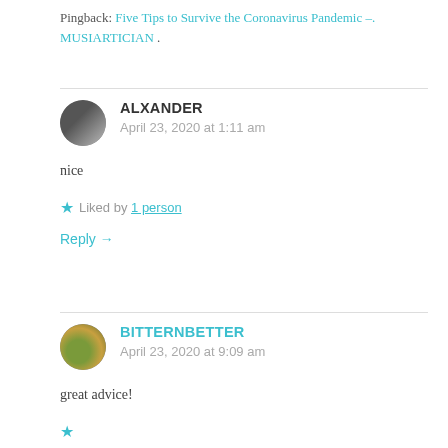Pingback: Five Tips to Survive the Coronavirus Pandemic –. MUSIARTICIAN .
ALXANDER
April 23, 2020 at 1:11 am

nice

★ Liked by 1 person

Reply →
BITTERNBETTER
April 23, 2020 at 9:09 am

great advice!